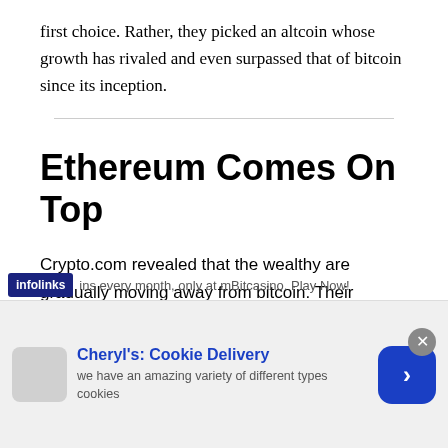first choice. Rather, they picked an altcoin whose growth has rivaled and even surpassed that of bitcoin since its inception.
Ethereum Comes On Top
Crypto.com revealed that the wealthy are gradually moving away from bitcoin. Their obvious choice besides the leading cryptocurrency is ethereum, which is currently the second-largest cryptocurrency by market cap.
5 BTC + 300 Free Spins for new players & 15 BTC + 35.000
infolinks  ...ins every month, only at mBitcasino. Play Now!
[Figure (other): Advertisement banner for Cheryl's Cookie Delivery: 'we have an amazing variety of different types cookies' with a call-to-action arrow button]